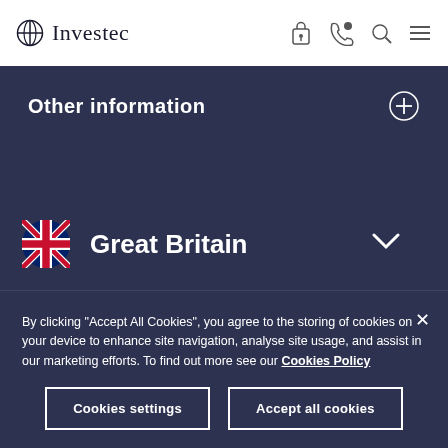Investec
Other information
[Figure (illustration): Great Britain flag icon with country name and dropdown chevron]
[Figure (illustration): Social media icons row: Facebook, Twitter, LinkedIn, and others]
By clicking "Accept All Cookies", you agree to the storing of cookies on your device to enhance site navigation, analyse site usage, and assist in our marketing efforts. To find out more see our Cookies Policy
Cookies settings
Accept all cookies